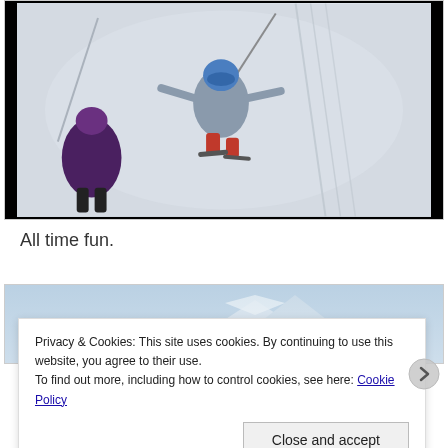[Figure (photo): Overhead GoPro-style photo of skiers on a snowy mountain slope. The central figure wears a blue helmet and gray ski suit, holding a selfie pole. Another figure in a dark purple jacket is visible at lower left. Ski tracks are visible in the snow.]
All time fun.
[Figure (photo): Partial view of a second photo showing a mountain scene with blue sky and snow-capped peaks.]
Privacy & Cookies: This site uses cookies. By continuing to use this website, you agree to their use.
To find out more, including how to control cookies, see here: Cookie Policy
Close and accept